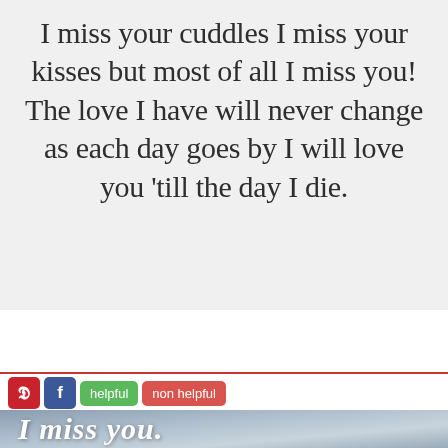I miss your cuddles I miss your kisses but most of all I miss you! The love I have will never change as each day goes by I will love you 'till the day I die.
[Figure (screenshot): Social sharing bar with Pinterest (red P), Facebook (blue f), green 'helpful' button, and red 'non helpful' button]
[Figure (photo): Cloudy sky background with white italic bold text reading 'I miss you.']